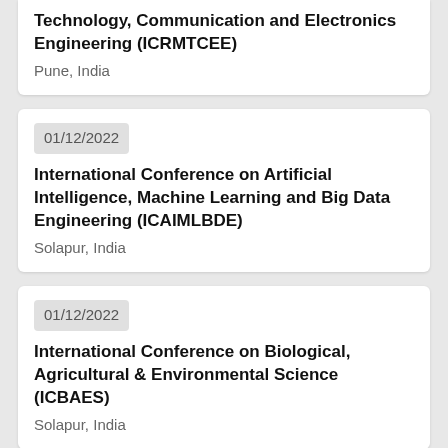Technology, Communication and Electronics Engineering (ICRMTCEE)
Pune, India
01/12/2022
International Conference on Artificial Intelligence, Machine Learning and Big Data Engineering (ICAIMLBDE)
Solapur, India
01/12/2022
International Conference on Biological, Agricultural & Environmental Science (ICBAES)
Solapur, India